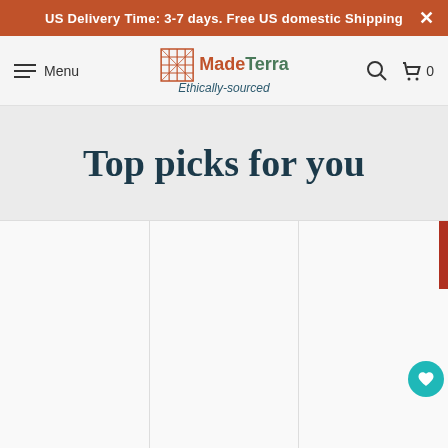US Delivery Time: 3-7 days. Free US domestic Shipping
MadeTerra — Ethically-sourced
Top picks for you
nd Bamboo Plate | ate Set for Dining, breakfast, Coffee
Set of 4 Bamboo Woven Placemats Rustic Wicker Washable Table
Bamboo Wic... er Trays with ... ll... Handwoven